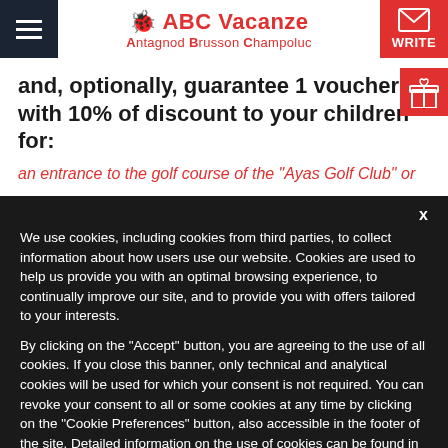ABC Vacanze — Antagnod Brusson Champoluc
and, optionally, guarantee 1 voucher with 10% of discount to your children for:
an entrance to the golf course of the "Ayas Golf Club" or
We use cookies, including cookies from third parties, to collect information about how users use our website. Cookies are used to help us provide you with an optimal browsing experience, to continually improve our site, and to provide you with offers tailored to your interests.

By clicking on the "Accept" button, you are agreeing to the use of all cookies. If you close this banner, only technical and analytical cookies will be used for which your consent is not required. You can revoke your consent to all or some cookies at any time by clicking on the "Cookie Preferences" button, also accessible in the footer of the site. Detailed information on the use of cookies can be found in our privacy and cookie policy.